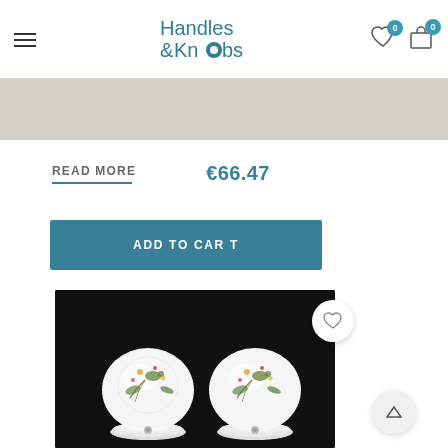[Figure (logo): Handles & Knobs logo with teal text and circular knob icon]
READ MORE
€66.47
ADD TO CART
[Figure (photo): Two white ceramic door knobs with floral bird pattern on black background]